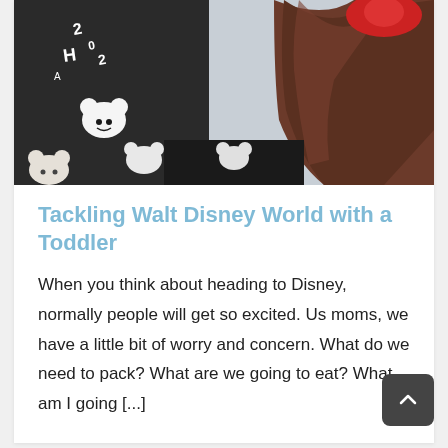[Figure (photo): Close-up photo of two people wearing Disney-themed clothing (Mickey Mouse patterned jackets/shirts). One person is wearing a red accessory on their head. The image is cropped and shows their torsos and lower faces.]
Tackling Walt Disney World with a Toddler
When you think about heading to Disney, normally people will get so excited. Us moms, we have a little bit of worry and concern. What do we need to pack? What are we going to eat? What am I going [...]